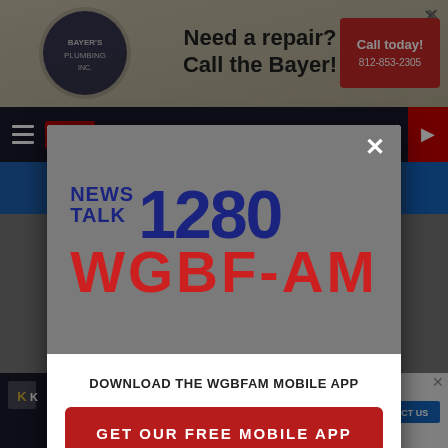[Figure (screenshot): Top advertisement banner for Bayer's Plumbing - 'Need a repair? Call the Bayer!' with phone number 812-853-2305]
[Figure (screenshot): Navigation bar with hamburger menu, LIVE button, and red arrow button]
[Figure (screenshot): Modal popup dialog with WGBF-AM News Talk 1280 logo in dark gray header section]
[Figure (logo): NEWS TALK 1280 WGBF-AM radio station logo in blue and red]
DOWNLOAD THE WGBFAM MOBILE APP
[Figure (screenshot): Red button: GET OUR FREE MOBILE APP]
Also listen on: amazon alexa
[Figure (screenshot): Bottom advertisement for Kappell Wealth Strategies - 'Need a Different Perspective on the Health of Your Retirement Plan?' CONTACT US]